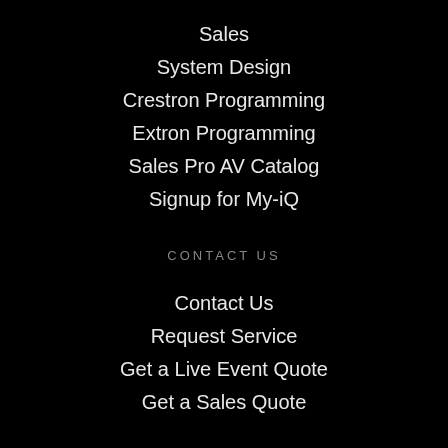Sales
System Design
Crestron Programming
Extron Programming
Sales Pro AV Catalog
Signup for My-iQ
CONTACT US
Contact Us
Request Service
Get a Live Event Quote
Get a Sales Quote